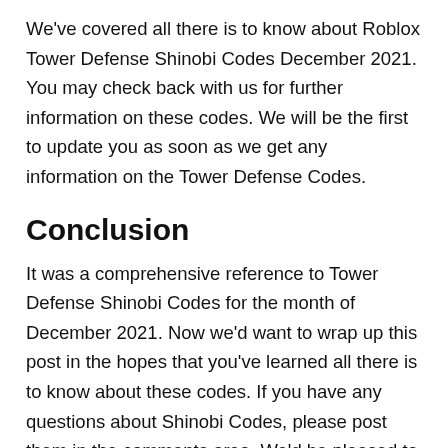We've covered all there is to know about Roblox Tower Defense Shinobi Codes December 2021. You may check back with us for further information on these codes. We will be the first to update you as soon as we get any information on the Tower Defense Codes.
Conclusion
It was a comprehensive reference to Tower Defense Shinobi Codes for the month of December 2021. Now we'd want to wrap up this post in the hopes that you've learned all there is to know about these codes. If you have any questions about Shinobi Codes, please post them in the comments area. We'd be pleased to answer any questions you have about Tower Defense Shinobi Codes December 2021.